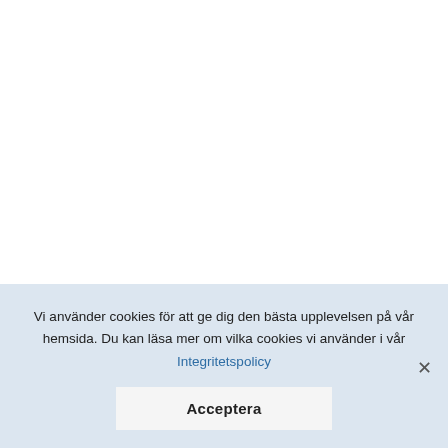Pion Design Palette – Pion Dusty rose I
10,00 kr
Vi använder cookies för att ge dig den bästa upplevelsen på vår hemsida. Du kan läsa mer om vilka cookies vi använder i vår Integritetspolicy
Acceptera